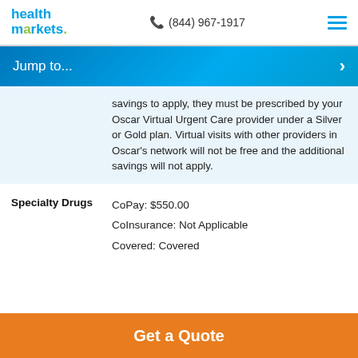health markets (844) 967-1917
Jump to...
savings to apply, they must be prescribed by your Oscar Virtual Urgent Care provider under a Silver or Gold plan. Virtual visits with other providers in Oscar's network will not be free and the additional savings will not apply.
Specialty Drugs
CoPay: $550.00
CoInsurance: Not Applicable
Covered: Covered
Get a Quote